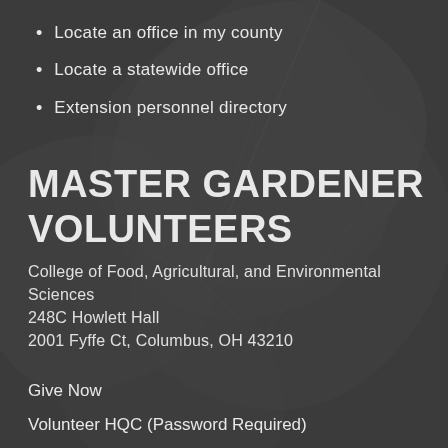Locate an office in my county
Locate a statewide office
Extension personnel directory
MASTER GARDENER VOLUNTEERS
College of Food, Agricultural, and Environmental Sciences
248C Howlett Hall
2001 Fyffe Ct, Columbus, OH 43210
Give Now
Volunteer HQC (Password Required)